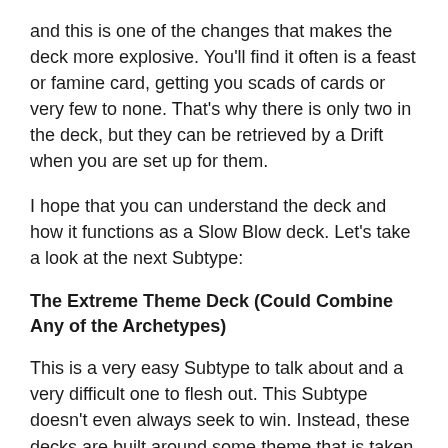and this is one of the changes that makes the deck more explosive. You'll find it often is a feast or famine card, getting you scads of cards or very few to none. That's why there is only two in the deck, but they can be retrieved by a Drift when you are set up for them.
I hope that you can understand the deck and how it functions as a Slow Blow deck. Let's take a look at the next Subtype:
The Extreme Theme Deck (Could Combine Any of the Archetypes)
This is a very easy Subtype to talk about and a very difficult one to flesh out. This Subtype doesn't even always seek to win. Instead, these decks are built around some theme that is taken to its logical conclusion. Maybe you'll build a deck where every card is a Pink Floyd song and then you'll sing each song when you play the appropriate card. Maybe you'll build a peasant theme complete with